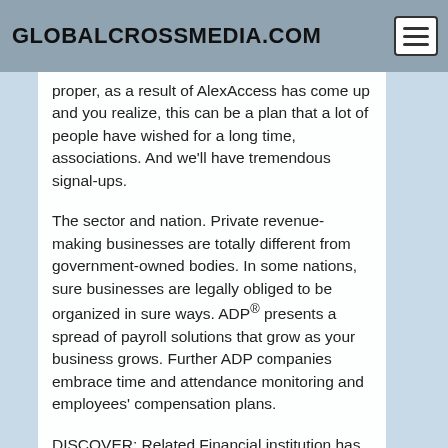GLOBALCROSSMEDIA.COM
not forget that right? Do you do not forget that? No proper, as a result of AlexAccess has come up and you realize, this can be a plan that a lot of people have wished for a long time, associations. And we'll have tremendous signal-ups.
The sector and nation. Private revenue-making businesses are totally different from government-owned bodies. In some nations, sure businesses are legally obliged to be organized in sure ways. ADP® presents a spread of payroll solutions that grow as your business grows. Further ADP companies embrace time and attendance monitoring and employees' compensation plans.
DISCOVER: Related Financial institution has a